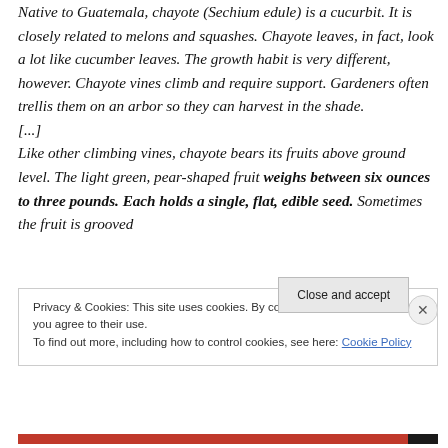Native to Guatemala, chayote (Sechium edule) is a cucurbit. It is closely related to melons and squashes. Chayote leaves, in fact, look a lot like cucumber leaves. The growth habit is very different, however. Chayote vines climb and require support. Gardeners often trellis them on an arbor so they can harvest in the shade.
[...]
Like other climbing vines, chayote bears its fruits above ground level. The light green, pear-shaped fruit weighs between six ounces to three pounds. Each holds a single, flat, edible seed. Sometimes the fruit is grooved
Privacy & Cookies: This site uses cookies. By continuing to use this website, you agree to their use.
To find out more, including how to control cookies, see here: Cookie Policy
Close and accept